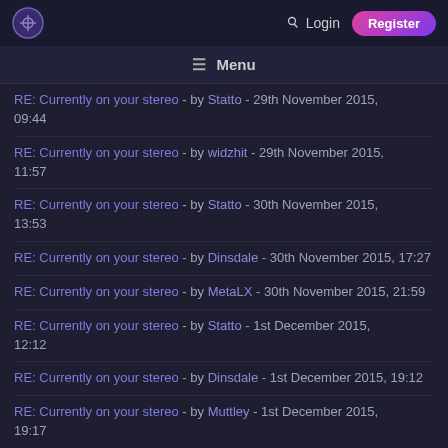Logo | Login | Register
≡ Menu
RE: Currently on your stereo - by Statto - 29th November 2015, 09:44
RE: Currently on your stereo - by widzhit - 29th November 2015, 11:57
RE: Currently on your stereo - by Statto - 30th November 2015, 13:53
RE: Currently on your stereo - by Dinsdale - 30th November 2015, 17:27
RE: Currently on your stereo - by MetaLX - 30th November 2015, 21:59
RE: Currently on your stereo - by Statto - 1st December 2015, 12:12
RE: Currently on your stereo - by Dinsdale - 1st December 2015, 19:12
RE: Currently on your stereo - by Muttley - 1st December 2015, 19:17
RE: Currently on your stereo - by Muttley - 1st December 2015, 19:19
RE: Currently on your stereo - by +ToRMeNT+ - 2nd December